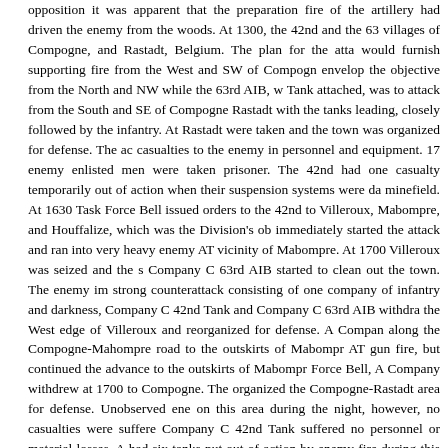opposition it was apparent that the preparation fire of the artillery had driven the enemy from the woods. At 1300, the 42nd and the 63rd villages of Compogne, and Rastadt, Belgium. The plan for the attack would furnish supporting fire from the West and SW of Compogne to envelop the objective from the North and NW while the 63rd AIB, with Tank attached, was to attack from the South and SE of Compogne and Rastadt with the tanks leading, closely followed by the infantry. At Rastadt were taken and the town was organized for defense. The action casualties to the enemy in personnel and equipment. 17 enemy enlisted men were taken prisoner. The 42nd had one casualty temporarily out of action when their suspension systems were damaged minefield. At 1630 Task Force Bell issued orders to the 42nd to clear Villeroux, Mabompre, and Houffalize, which was the Division's objective immediately started the attack and ran into very heavy enemy AT fire in vicinity of Mabompre. At 1700 Villeroux was seized and the squadron Company C 63rd AIB started to clean out the town. The enemy immediately strong counterattack consisting of one company of infantry and darkness, Company C 42nd Tank and Company C 63rd AIB withdrew to the West edge of Villeroux and reorganized for defense. A Company along the Compogne-Mahompre road to the outskirts of Mabompre AT gun fire, but continued the advance to the outskirts of Mabompre Force Bell, A Company withdrew at 1700 to Compogne. The organized the Compogne-Rastadt area for defense. Unobserved enemy on this area during the night, however, no casualties were suffered. Company C 42nd Tank suffered no personnel or material losses. A had six tanks put out of action by enemy fire during this action. Thr